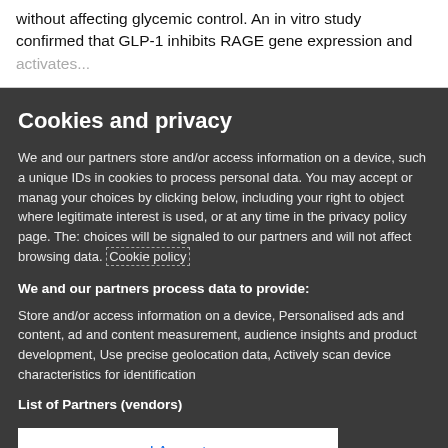without affecting glycemic control. An in vitro study confirmed that GLP-1 inhibits RAGE gene expression and
Cookies and privacy
We and our partners store and/or access information on a device, such a unique IDs in cookies to process personal data. You may accept or manage your choices by clicking below, including your right to object where legitimate interest is used, or at any time in the privacy policy page. These choices will be signaled to our partners and will not affect browsing data. Cookie policy
We and our partners process data to provide:
Store and/or access information on a device, Personalised ads and content, ad and content measurement, audience insights and product development, Use precise geolocation data, Actively scan device characteristics for identification
List of Partners (vendors)
I Accept